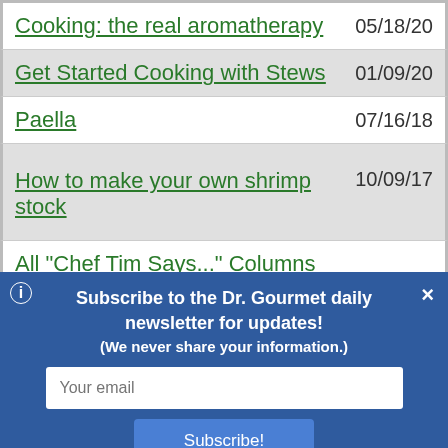Cooking: the real aromatherapy — 05/18/20
Get Started Cooking with Stews — 01/09/20
Paella — 07/16/18
How to make your own shrimp stock — 10/09/17
All "Chef Tim Says..." Columns
Subscribe to the Dr. Gourmet daily newsletter for updates! (We never share your information.)
Not So Magic Rice — 04/09/18
Leaky Gut Syndrome Quackery — 10/02/17
4 ways to protect your brain with — 07/18/17